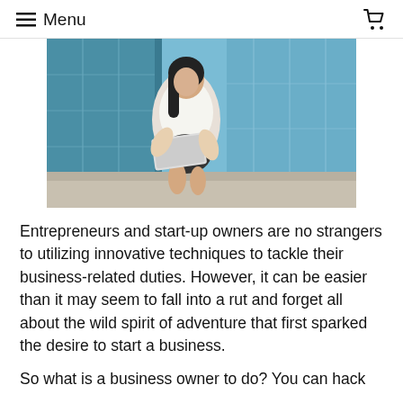≡ Menu
[Figure (photo): A woman in a white blouse and black skirt sitting outdoors on steps, holding and working on a laptop, with a modern glass building in the background.]
Entrepreneurs and start-up owners are no strangers to utilizing innovative techniques to tackle their business-related duties. However, it can be easier than it may seem to fall into a rut and forget all about the wild spirit of adventure that first sparked the desire to start a business.
So what is a business owner to do? You can hack